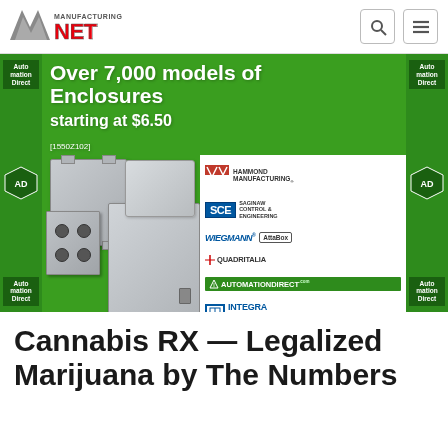Manufacturing.NET
[Figure (infographic): Advertisement for AutomationDirect enclosures — 'Over 7,000 models of Enclosures starting at $6.50 [1550Z102]' with photos of grey electrical enclosures and brand logos: Hammond Manufacturing, SCE Saginaw Control & Engineering, Wiegmann, AttaBox, Quadritalia, Integra Enclosures, AutomationDirect]
Cannabis RX — Legalized Marijuana by The Numbers